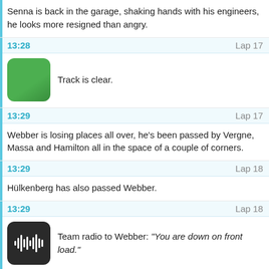Senna is back in the garage, shaking hands with his engineers, he looks more resigned than angry.
13:28 — Lap 17 — Track is clear.
13:29 — Lap 17 — Webber is losing places all over, he's been passed by Vergne, Massa and Hamilton all in the space of a couple of corners.
13:29 — Lap 18 — Hülkenberg has also passed Webber.
13:29 — Lap 18 — Team radio to Webber: "You are down on front load."
13:30 — Lap 18